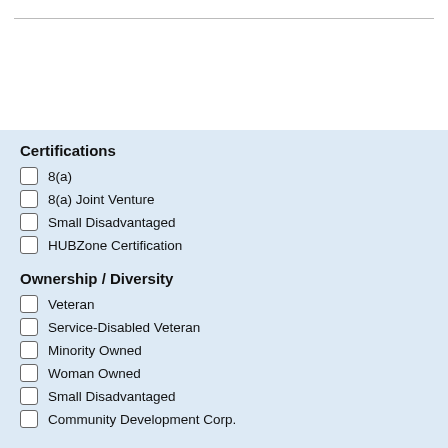Certifications
8(a)
8(a) Joint Venture
Small Disadvantaged
HUBZone Certification
Ownership / Diversity
Veteran
Service-Disabled Veteran
Minority Owned
Woman Owned
Small Disadvantaged
Community Development Corp.